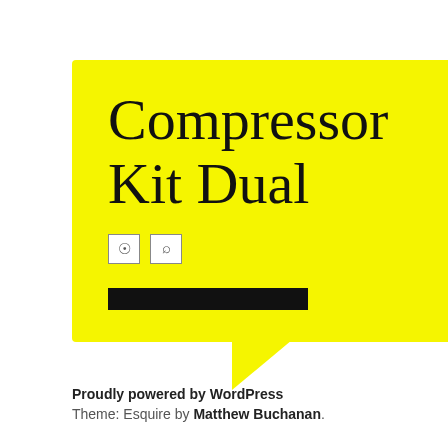[Figure (illustration): Yellow speech bubble with title 'Compressor Kit Dual', two small icon boxes (RSS and search), and a thick black horizontal bar below them]
Compressor Kit Dual
Proudly powered by WordPress
Theme: Esquire by Matthew Buchanan.
Octob...
CATEGORIE...
02mm...
07-13...
08mm...
110v
120ps...
135db...
14hp
150db...
15hp
16hp
2-airb...
2008-...
200ps...
27psi...